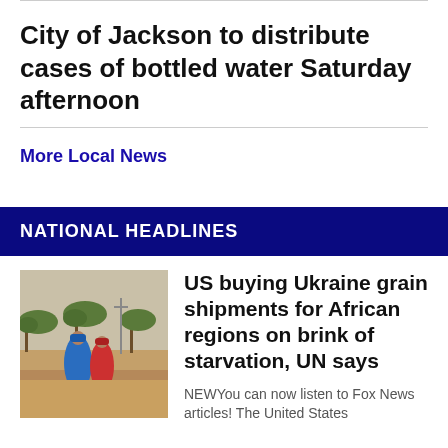City of Jackson to distribute cases of bottled water Saturday afternoon
More Local News
NATIONAL HEADLINES
[Figure (photo): Two people in colorful robes standing in a dry, arid landscape with sparse acacia trees and a utility pole in the background.]
US buying Ukraine grain shipments for African regions on brink of starvation, UN says
NEWYou can now listen to Fox News articles! The United States